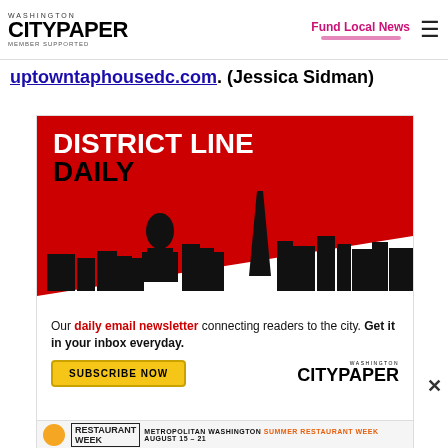Washington City Paper — MEMBER SUPPORTED | Fund Local News
uptowntaphousedc.com. (Jessica Sidman)
[Figure (infographic): District Line Daily advertisement from Washington City Paper. Red top section with DC skyline silhouette and bold white/black text reading 'DISTRICT LINE DAILY'. White bottom section with text: 'Our daily email newsletter connecting readers to the city. Get it in your inbox everyday.' with a yellow SUBSCRIBE NOW button and Washington City Paper logo.]
[Figure (infographic): Metropolitan Washington Summer Restaurant Week advertisement, August 15-21, with sponsor logos.]